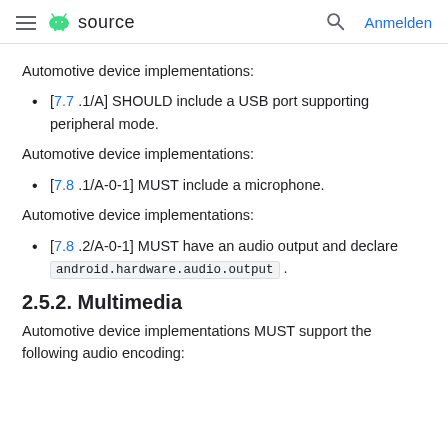≡ 🤖 source   🔍 Anmelden
Automotive device implementations:
[ 7.7 .1/A] SHOULD include a USB port supporting peripheral mode.
Automotive device implementations:
[ 7.8 .1/A-0-1] MUST include a microphone.
Automotive device implementations:
[ 7.8 .2/A-0-1] MUST have an audio output and declare android.hardware.audio.output .
2.5.2. Multimedia
Automotive device implementations MUST support the following audio encoding: